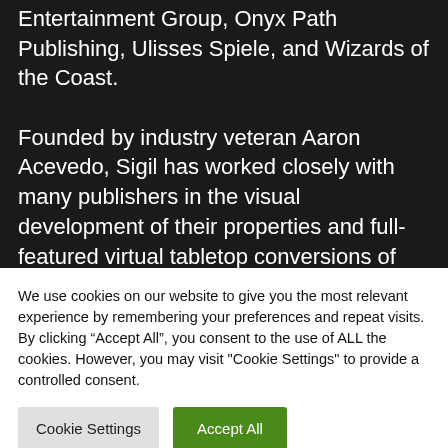Entertainment Group, Onyx Path Publishing, Ulisses Spiele, and Wizards of the Coast.

Founded by industry veteran Aaron Acevedo, Sigil has worked closely with many publishers in the visual development of their properties and full-featured virtual tabletop conversions of their games. With a team that includes illustrators,
We use cookies on our website to give you the most relevant experience by remembering your preferences and repeat visits. By clicking “Accept All”, you consent to the use of ALL the cookies. However, you may visit "Cookie Settings" to provide a controlled consent.